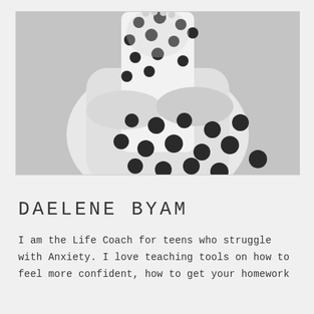[Figure (photo): Black and white photograph of Daelene Byam, a woman wearing a white cardigan over a polka dot dress, standing with her arms crossed]
DAELENE BYAM
I am the Life Coach for teens who struggle with Anxiety. I love teaching tools on how to feel more confident, how to get your homework